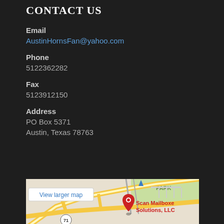CONTACT US
Email
AustinHornsFan@yahoo.com
Phone
5122362282
Fax
5123912150
Address
PO Box 5371
Austin, Texas 78763
[Figure (map): Google Maps embed showing location of Scan Mailboxe Solutions, LLC near highway 71 in Austin, Texas. Shows 'View larger map' link and a red map pin marker.]